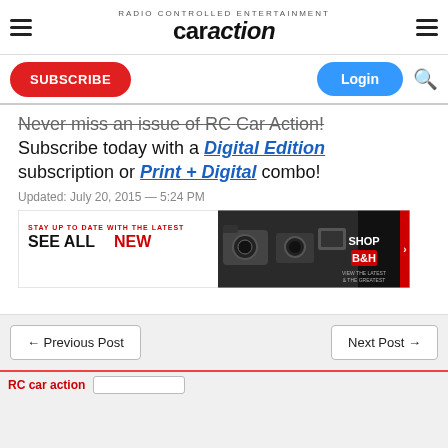RC Car Action — Navigation header with hamburger menus, logo, Subscribe button, Login button, search icon
Never miss an issue of RC Car Action! Subscribe today with a Digital Edition subscription or Print + Digital combo!
Updated: July 20, 2015 — 5:24 PM
[Figure (infographic): Banner advertisement: STAY UP TO DATE WITH THE LATEST / SEE ALL NEW — camera product images — SHOP / B&H / VIEW THE LATEST & THE GREATEST]
← Previous Post    Next Post →